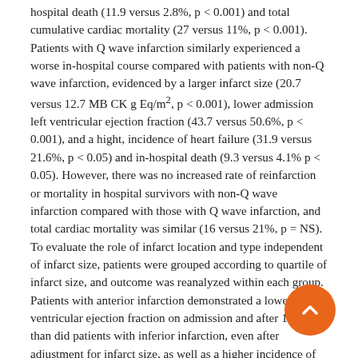hospital death (11.9 versus 2.8%, p < 0.001) and total cumulative cardiac mortality (27 versus 11%, p < 0.001). Patients with Q wave infarction similarly experienced a worse in-hospital course compared with patients with non-Q wave infarction, evidenced by a larger infarct size (20.7 versus 12.7 MB CK g Eq/m², p < 0.001), lower admission left ventricular ejection fraction (43.7 versus 50.6%, p < 0.001), and a hight, incidence of heart failure (31.9 versus 21.6%, p < 0.05) and in-hospital death (9.3 versus 4.1% p < 0.05). However, there was no increased rate of reinfarction or mortality in hospital survivors with non-Q wave infarction compared with those with Q wave infarction, and total cardiac mortality was similar (16 versus 21%, p = NS). To evaluate the role of infarct location and type independent of infarct size, patients were grouped according to quartile of infarct size, and outcome was reanalyzed within each group. Patients with anterior infarction demonstrated a lower left ventricular ejection fraction on admission and after 10 days than did patients with inferior infarction, even after adjustment for infarct size, as well as a higher incidence of congestive heart failure and cumulative cardiac mortality. When patients were evaluated on the basis of both location and type of infarction, those with anterior infarction exhibited a worse hospital course and cumulative cardiac mortality than did those with inferior